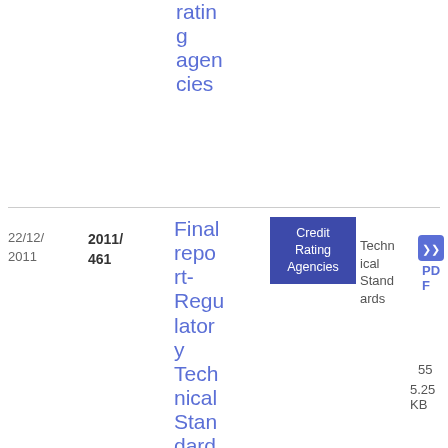rating agencies
| Date | Doc# | Title | Topic | Type | PDF | Pages | Size |
| --- | --- | --- | --- | --- | --- | --- | --- |
| 22/12/2011 | 2011/461 | Final report-Regulatory Technical Standards on the presentation of the | Credit Rating Agencies | Technical Standards | PDF | 55 | 5.25 KB |